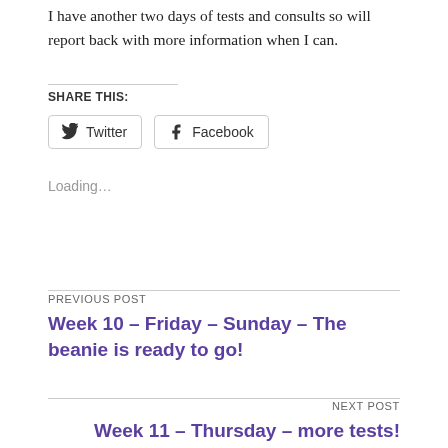I have another two days of tests and consults so will report back with more information when I can.
SHARE THIS:
Twitter  Facebook
Loading...
PREVIOUS POST
Week 10 – Friday – Sunday – The beanie is ready to go!
NEXT POST
Week 11 – Thursday – more tests!